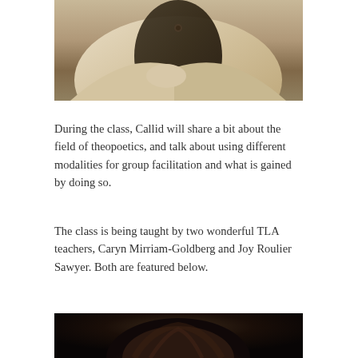[Figure (photo): Person with arms crossed wearing a light beige/cream shirt and dark vest, upper body visible]
During the class, Callid will share a bit about the field of theopoetics, and talk about using different modalities for group facilitation and what is gained by doing so.
The class is being taught by two wonderful TLA teachers, Caryn Mirriam-Goldberg and Joy Roulier Sawyer. Both are featured below.
[Figure (photo): Person with dark hair, partially visible at bottom of page]